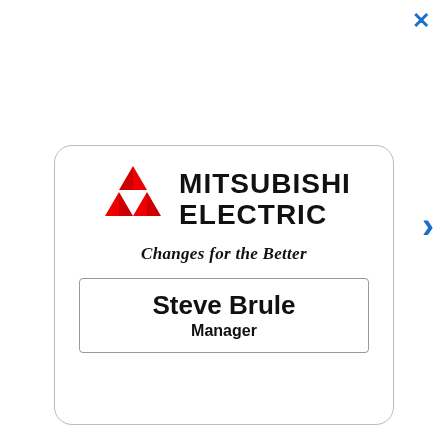[Figure (logo): Mitsubishi Electric name badge with logo (three red diamond shapes), company name MITSUBISHI ELECTRIC in bold black, tagline 'Changes for the Better' in italic bold, and a name box with 'Steve Brule' and 'Manager'.]
Steve Brule
Manager